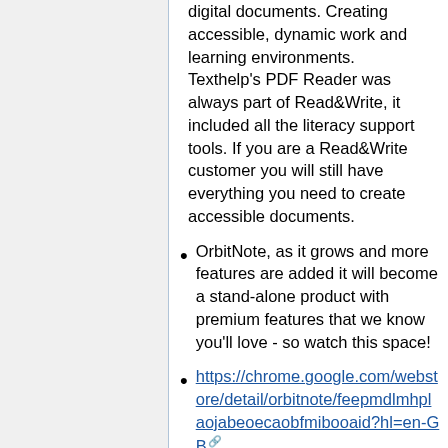digital documents. Creating accessible, dynamic work and learning environments. Texthelp's PDF Reader was always part of Read&Write, it included all the literacy support tools. If you are a Read&Write customer you will still have everything you need to create accessible documents.
OrbitNote, as it grows and more features are added it will become a stand-alone product with premium features that we know you'll love - so watch this space!
https://chrome.google.com/webstore/detail/orbitnote/feepmdlmhplaojabeoecaobfmibooaid?hl=en-GB
Complete!! CDC/F